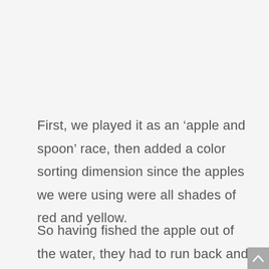First, we played it as an ‘apple and spoon’ race, then added a color sorting dimension since the apples we were using were all shades of red and yellow.
So having fished the apple out of the water, they had to run back and place it